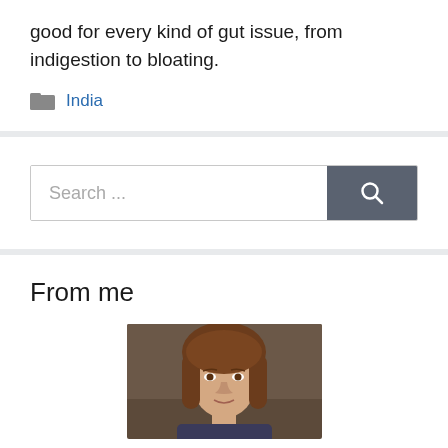good for every kind of gut issue, from indigestion to bloating.
India
[Figure (screenshot): Search bar with text input field showing placeholder 'Search ...' and a dark gray search button with magnifying glass icon]
From me
[Figure (photo): Portrait photo of a young woman with brown hair, facing forward, against a dark brown background]